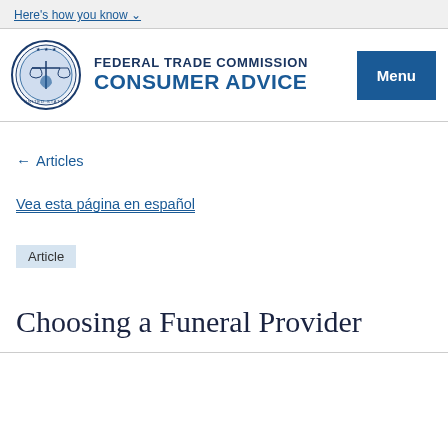Here's how you know
[Figure (logo): Federal Trade Commission circular seal logo with scales of justice]
FEDERAL TRADE COMMISSION CONSUMER ADVICE
Menu
← Articles
Vea esta página en español
Article
Choosing a Funeral Provider